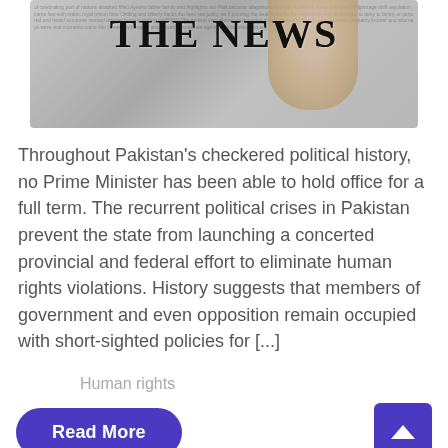[Figure (photo): Newspaper front page image of 'The News' with a woman's face visible, overlaid on printed newspaper text in grayscale.]
Throughout Pakistan's checkered political history, no Prime Minister has been able to hold office for a full term. The recurrent political crises in Pakistan prevent the state from launching a concerted provincial and federal effort to eliminate human rights violations. History suggests that members of government and even opposition remain occupied with short-sighted policies for [...]
Human rights
Read More